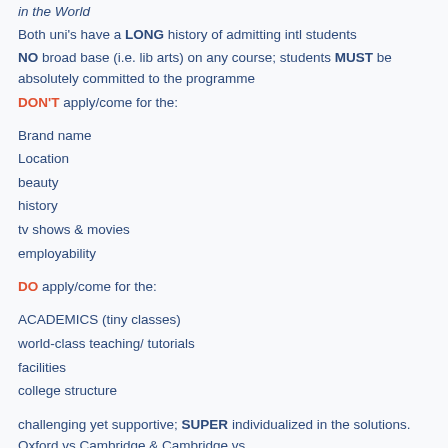in the World
Both uni's have a LONG history of admitting intl students
NO broad base (i.e. lib arts) on any course; students MUST be absolutely committed to the programme
DON'T apply/come for the:
Brand name
Location
beauty
history
tv shows & movies
employability
DO apply/come for the:
ACADEMICS (tiny classes)
world-class teaching/ tutorials
facilities
college structure
challenging yet supportive; SUPER individualized in the solutions. Oxford vs Cambridge & Cambridge vs...